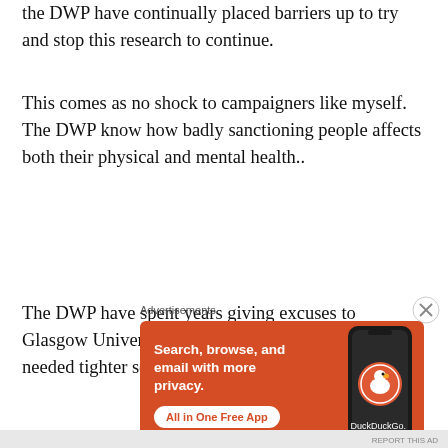the DWP have continually placed barriers up to try and stop this research to continue.
This comes as no shock to campaigners like myself. The DWP know how badly sanctioning people affects both their physical and mental health..
The DWP have spent years giving excuses to Glasgow University demanding that the research needed tighter security which they
Advertisements
[Figure (screenshot): DuckDuckGo advertisement banner: orange background with text 'Search, browse, and email with more privacy. All in One Free App' and a phone image showing DuckDuckGo logo.]